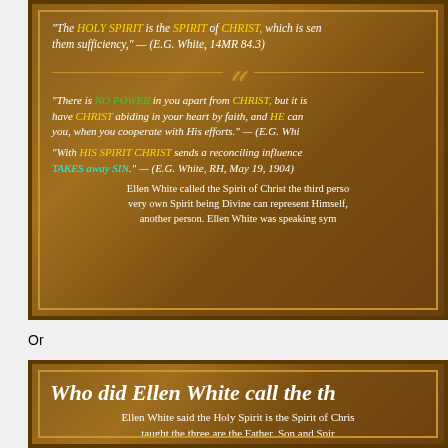[Figure (infographic): Brown decorative panel with quotes about the Holy Spirit being the Spirit of Christ, with colored highlighted keywords]
"The HOLY SPIRIT is the SPIRIT of CHRIST, which is sent to them sufficiency," — (E.G. White, 14MR 84.3)
"There is NO POWER in you apart from CHRIST, but it is have CHRIST abiding in your heart by faith, and HE can you, when you cooperate with His efforts." — (E.G. Whi...
"With HIS SPIRIT CHRIST sends a reconciling influence TAKES away SIN." — (E.G. White, RH, May 19, 1904)
Ellen White called the Spirit of Christ the third perso very own Spirit being Divine can represent Himself, another person. Ellen White was speaking sym...
Or
[Figure (infographic): Brown decorative panel with title 'Who did Ellen White call the th...' and text about Ellen White saying the Holy Spirit is the Spirit of Christ]
Who did Ellen White call the th...
Ellen White said the Holy Spirit is the Spirit of Chris... taught the three are the Father, Son and Spir...